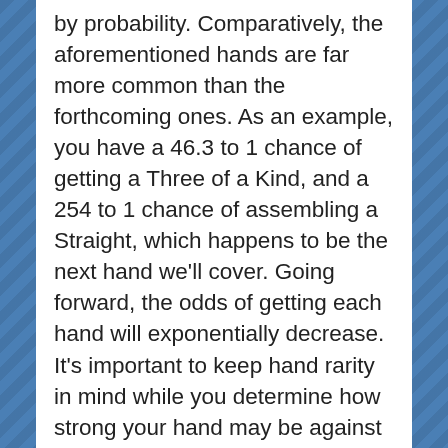by probability. Comparatively, the aforementioned hands are far more common than the forthcoming ones. As an example, you have a 46.3 to 1 chance of getting a Three of a Kind, and a 254 to 1 chance of assembling a Straight, which happens to be the next hand we'll cover. Going forward, the odds of getting each hand will exponentially decrease. It's important to keep hand rarity in mind while you determine how strong your hand may be against the possible hands of your opponents at the table.
A Straight is when you have five cards in sequence, but not necessarily of the same suit. For example, 5 of Spades, 6 of Spades,